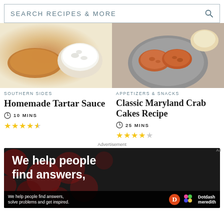SEARCH RECIPES & MORE
SOUTHERN SIDES
Homemade Tartar Sauce
10 MINS
APPETIZERS & SNACKS
Classic Maryland Crab Cakes Recipe
25 MINS
Advertisement
[Figure (screenshot): Advertisement: 'We help people find answers,' with Dotdash Meredith logo on dark background with red bokeh circles]